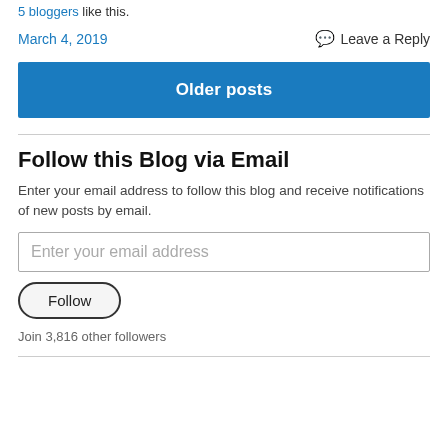5 bloggers like this.
March 4, 2019    Leave a Reply
Older posts
Follow this Blog via Email
Enter your email address to follow this blog and receive notifications of new posts by email.
Enter your email address
Follow
Join 3,816 other followers